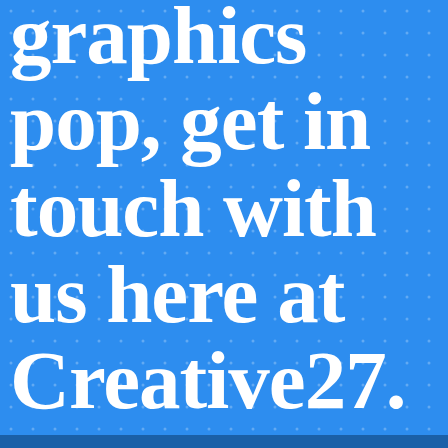graphics pop, get in touch with us here at Creative27.